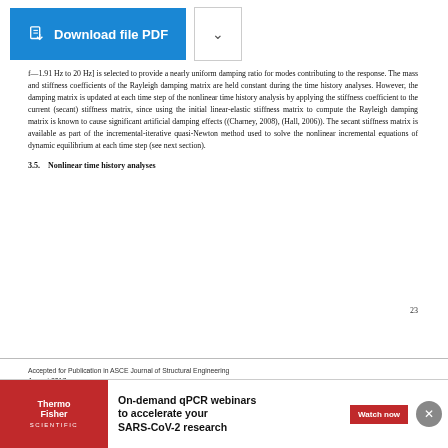[f = 1.91 Hz to 20 Hz] is selected to provide a nearly uniform damping ratio for modes contributing to the response. The mass and stiffness coefficients of the Rayleigh damping matrix are held constant during the time history analyses. However, the damping matrix is updated at each time step of the nonlinear time history analysis by applying the stiffness coefficient to the current (secant) stiffness matrix, since using the initial linear-elastic stiffness matrix to compute the Rayleigh damping matrix is known to cause significant artificial damping effects ((Charney, 2008), (Hall, 2006)). The secant stiffness matrix is available as part of the incremental-iterative quasi-Newton method used to solve the nonlinear incremental equations of dynamic equilibrium at each time step (see next section).
3.5.   Nonlinear time history analyses
23
Accepted for Publication in ASCE Journal of Structural Engineering
August 2017
Each nonlinear dynamic earthquake response analysis starts with the application of the gravity loads quasi-statically and incrementally. The regular incremental-iterative Newton method is used to solve the nonlinear static equilibrium equations for gravity loads. The nonlinear time